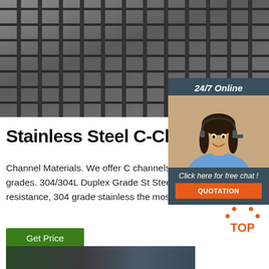[Figure (photo): Close-up photo of stainless steel C-channel sections stacked, showing dark metallic structural steel profiles]
[Figure (photo): 24/7 Online chat widget showing a smiling woman with headset, with 'Click here for free chat!' text and orange QUOTATION button]
Stainless Steel C-Chan
Channel Materials. We offer C channels 304/304L, 316/316L, and 2205 duplex st steel grades. 304/304L Duplex Grade St Steel. Due to its high formability, strength corrosion resistance, 304 grade stainless the most commonly used stainless steel market.
[Figure (illustration): Green Get Price button]
[Figure (illustration): Orange TOP arrow icon with dots]
[Figure (photo): Bottom partial photo of stainless steel products]